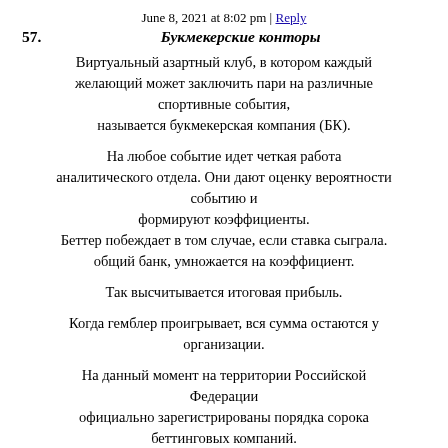June 8, 2021 at 8:02 pm | Reply
57.  Букмекерские конторы
Виртуальный азартный клуб, в котором каждый желающий может заключить пари на различные спортивные события, называется букмекерская компания (БК).
На любое событие идет четкая работа аналитического отдела. Они дают оценку вероятности событию и формируют коэффициенты. Беттер побеждает в том случае, если ставка сыграла. общий банк, умножается на коэффициент.
Так высчитывается итоговая прибыль.
Когда гемблер проигрывает, вся сумма остаются у организации.
На данный момент на территории Российской Федерации официально зарегистрированы порядка сорока беттинговых компаний.